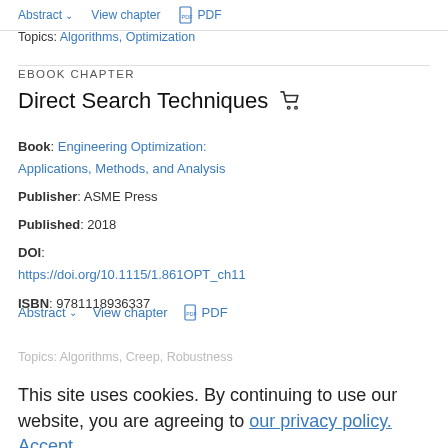Abstract   View chapter   PDF
Topics: Algorithms, Optimization
EBOOK CHAPTER
Direct Search Techniques
Book: Engineering Optimization: Applications, Methods, and Analysis
Publisher: ASME Press
Published: 2018
DOI: https://doi.org/10.1115/1.861OPT_ch11
ISBN: 9781118936337
Abstract   View chapter   PDF
Topics: Algorithms, Creep, Robustness
This site uses cookies. By continuing to use our website, you are agreeing to our privacy policy. Accept
Enhancements to Optimizers
Book: Engineering Optimization...